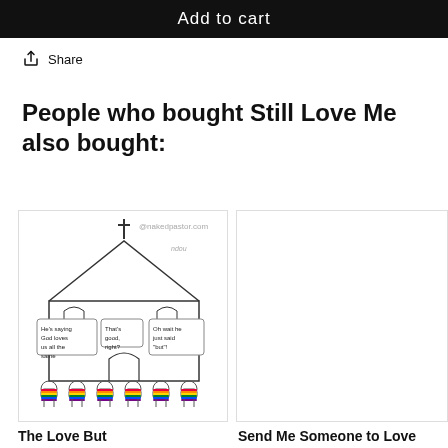Add to cart
Share
People who bought Still Love Me also bought:
[Figure (illustration): Cartoon illustration of a church with a cross on top and rainbow-colored sheep-like figures in front holding signs. Signs read: 'He's saying God loves us all the same', 'That's good, right?', 'Oh wait he just said "but"'. Watermark: @nakedpastor.com]
[Figure (illustration): Partially visible second product image (white/blank area)]
The Love But
Send Me Someone to Love